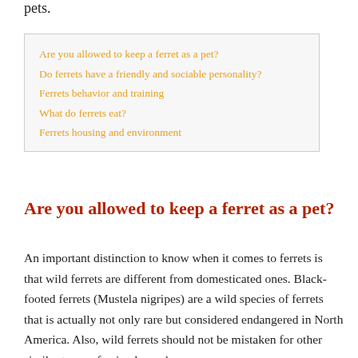pets.
| Are you allowed to keep a ferret as a pet? |
| Do ferrets have a friendly and sociable personality? |
| Ferrets behavior and training |
| What do ferrets eat? |
| Ferrets housing and environment |
Are you allowed to keep a ferret as a pet?
An important distinction to know when it comes to ferrets is that wild ferrets are different from domesticated ones. Black-footed ferrets (Mustela nigripes) are a wild species of ferrets that is actually not only rare but considered endangered in North America. Also, wild ferrets should not be mistaken for other similar types of animals, such as